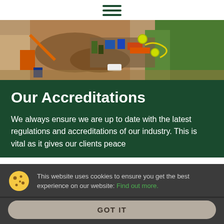[Figure (other): Hamburger menu icon with three horizontal dark green lines]
[Figure (photo): Aerial view of a construction/drilling site with heavy equipment, pipes, colorful equipment, and a dirt road with green grass on the right]
Our Accreditations
We always ensure we are up to date with the latest regulations and accreditations of our industry. This is vital as it gives our clients peace
This website uses cookies to ensure you get the best experience on our website: Find out more.
GOT IT